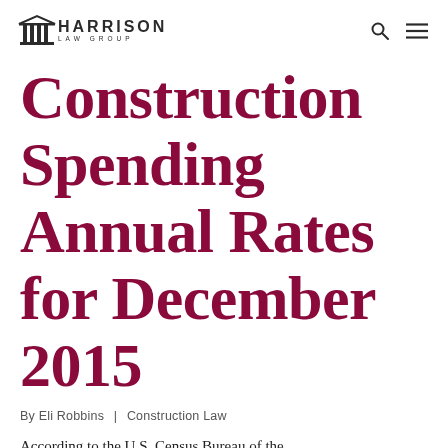Harrison Law Group
Construction Spending Annual Rates for December 2015
By Eli Robbins | Construction Law
According to the U.S. Census Bureau of the